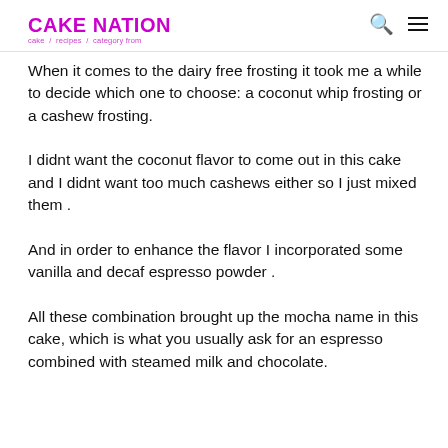CAKE NATION
When it comes to the dairy free frosting it took me a while to decide which one to choose: a coconut whip frosting or a cashew frosting.
I didnt want the coconut flavor to come out in this cake and I didnt want too much cashews either so I just mixed them .
And in order to enhance the flavor I incorporated some vanilla and decaf espresso powder .
All these combination brought up the mocha name in this cake, which is what you usually ask for an espresso combined with steamed milk and chocolate.